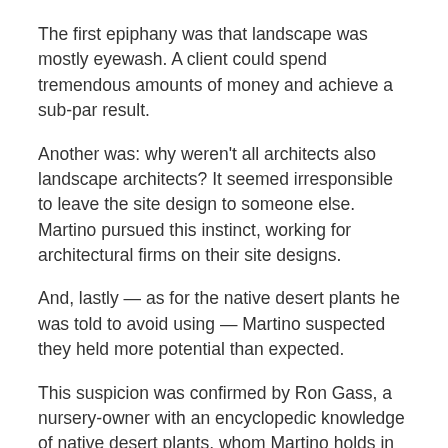The first epiphany was that landscape was mostly eyewash. A client could spend tremendous amounts of money and achieve a sub-par result.
Another was: why weren't all architects also landscape architects? It seemed irresponsible to leave the site design to someone else. Martino pursued this instinct, working for architectural firms on their site designs.
And, lastly — as for the native desert plants he was told to avoid using — Martino suspected they held more potential than expected.
This suspicion was confirmed by Ron Gass, a nursery-owner with an encyclopedic knowledge of native desert plants, whom Martino holds in great esteem. Martino, out of a job at one point during the 1970s, went to work at Gass' nursery and learned as much as he could.
In the meantime, Martino marketed himself as a designer